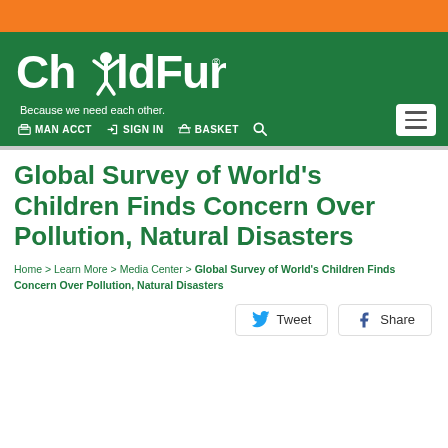[Figure (logo): ChildFund logo with tagline 'Because we need each other.' on green background with orange top bar and navigation links MAN ACCT, SIGN IN, BASKET, search icon, and hamburger menu button]
Global Survey of World's Children Finds Concern Over Pollution, Natural Disasters
Home > Learn More > Media Center > Global Survey of World's Children Finds Concern Over Pollution, Natural Disasters
Tweet  Share